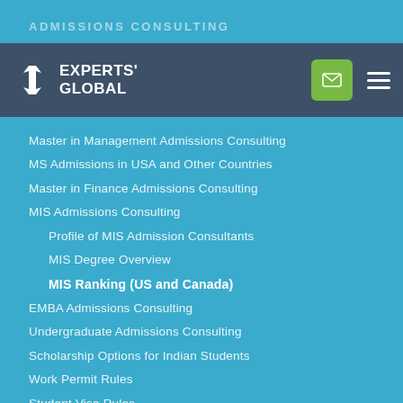ADMISSIONS CONSULTING
[Figure (logo): Experts' Global logo with arrow icon on dark navy navbar with green email button and hamburger menu]
MBA Admissions Consulting
MBA Admissions Consulting
Master in Management Admissions Consulting
MS Admissions in USA and Other Countries
Master in Finance Admissions Consulting
MIS Admissions Consulting
Profile of MIS Admission Consultants
MIS Degree Overview
MIS Ranking (US and Canada)
EMBA Admissions Consulting
Undergraduate Admissions Consulting
Scholarship Options for Indian Students
Work Permit Rules
Student Visa Rules
Loans for International Students
Loans in India for Global Education